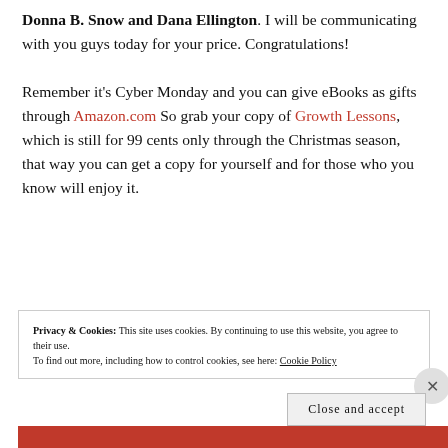Donna B. Snow and Dana Ellington. I will be communicating with you guys today for your price. Congratulations!

Remember it's Cyber Monday and you can give eBooks as gifts through Amazon.com So grab your copy of Growth Lessons, which is still for 99 cents only through the Christmas season, that way you can get a copy for yourself and for those who you know will enjoy it.
Privacy & Cookies: This site uses cookies. By continuing to use this website, you agree to their use. To find out more, including how to control cookies, see here: Cookie Policy
Close and accept